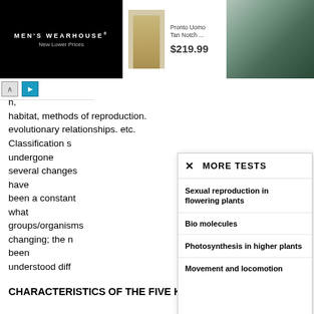[Figure (screenshot): Men's Wearhouse advertisement banner showing a tan suit and a couple in formal wear, with product name 'Pronto Uomo Tan Notch ...' priced at $219.99]
n,
habitat, methods of reproduction. evolutionary relationships. etc. Classification s undergone several changes have been a constant what groups/organisms changing; the n been understood diff
[Figure (screenshot): Popup panel with header 'MORE TESTS' and list items: Sexual reproduction in flowering plants, Bio molecules, Photosynthesis in higher plants, Movement and locomotion]
CHARACTERISTICS OF THE FIVE KINGDOMS :